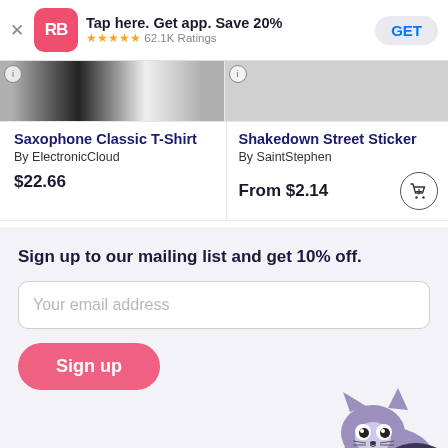Tap here. Get app. Save 20% ★★★★★ 62.1K Ratings GET
Saxophone Classic T-Shirt
By ElectronicCloud
$22.66
Shakedown Street Sticker
By SaintStephen
From $2.14
Sign up to our mailing list and get 10% off.
Your email address
Sign up
By clicking Sign Up, you agree